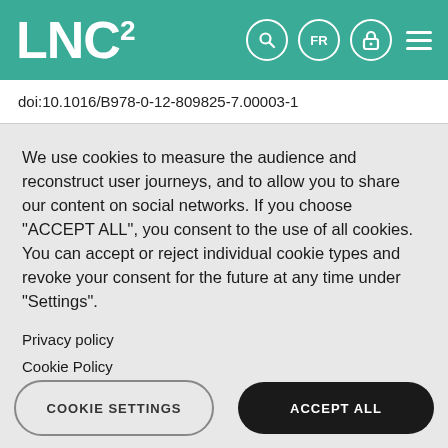LNC²
doi:10.1016/B978-0-12-809825-7.00003-1
We use cookies to measure the audience and reconstruct user journeys, and to allow you to share our content on social networks. If you choose "ACCEPT ALL", you consent to the use of all cookies. You can accept or reject individual cookie types and revoke your consent for the future at any time under "Settings".
Privacy policy
Cookie Policy
COOKIE SETTINGS
ACCEPT ALL